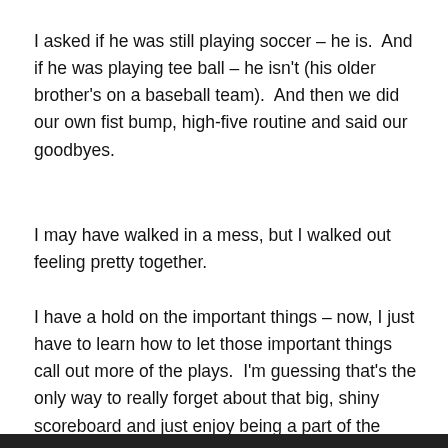I asked if he was still playing soccer – he is.  And if he was playing tee ball – he isn't (his older brother's on a baseball team).  And then we did our own fist bump, high-five routine and said our goodbyes.
I may have walked in a mess, but I walked out feeling pretty together.
I have a hold on the important things – now, I just have to learn how to let those important things call out more of the plays.  I'm guessing that's the only way to really forget about that big, shiny scoreboard and just enjoy being a part of the game.